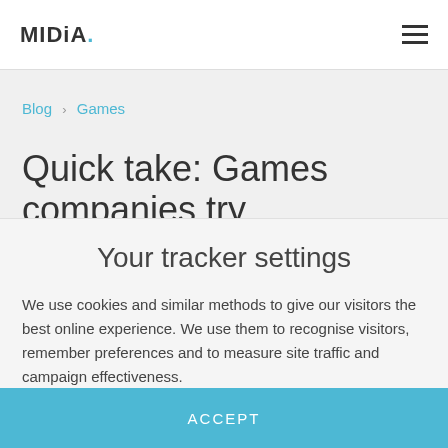MIDIA.
Blog › Games
Quick take: Games companies try
Your tracker settings
We use cookies and similar methods to give our visitors the best online experience. We use them to recognise visitors, remember preferences and to measure site traffic and campaign effectiveness.
ACCEPT